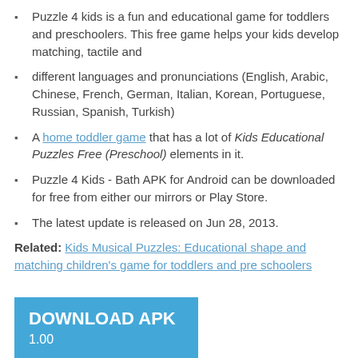Puzzle 4 kids is a fun and educational game for toddlers and preschoolers. This free game helps your kids develop matching, tactile and
different languages and pronunciations (English, Arabic, Chinese, French, German, Italian, Korean, Portuguese, Russian, Spanish, Turkish)
A home toddler game that has a lot of Kids Educational Puzzles Free (Preschool) elements in it.
Puzzle 4 Kids - Bath APK for Android can be downloaded for free from either our mirrors or Play Store.
The latest update is released on Jun 28, 2013.
Related: Kids Musical Puzzles: Educational shape and matching children's game for toddlers and pre schoolers
DOWNLOAD APK 1.00